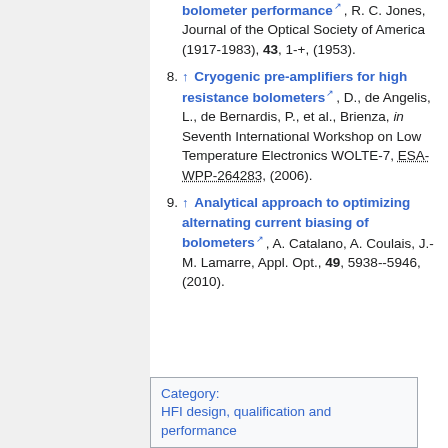↑ bolometer performance, R. C. Jones, Journal of the Optical Society of America (1917-1983), 43, 1-+, (1953).
8. ↑ Cryogenic pre-amplifiers for high resistance bolometers, D., de Angelis, L., de Bernardis, P., et al., Brienza, in Seventh International Workshop on Low Temperature Electronics WOLTE-7, ESA-WPP-264283, (2006).
9. ↑ Analytical approach to optimizing alternating current biasing of bolometers, A. Catalano, A. Coulais, J.-M. Lamarre, Appl. Opt., 49, 5938--5946, (2010).
Category: HFI design, qualification and performance